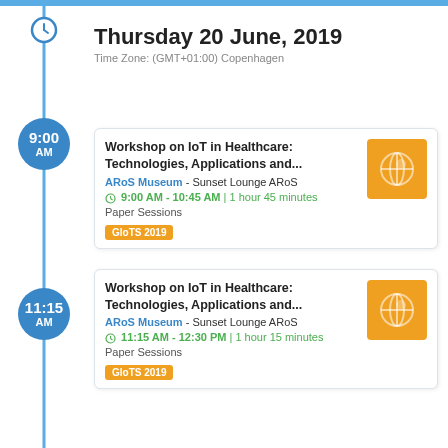Thursday 20 June, 2019
Time Zone: (GMT+01:00) Copenhagen
9:00 AM
Workshop on IoT in Healthcare: Technologies, Applications and...
ARoS Museum - Sunset Lounge ARoS
9:00 AM - 10:45 AM | 1 hour 45 minutes
Paper Sessions
GloTS 2019
11:15 AM
Workshop on IoT in Healthcare: Technologies, Applications and...
ARoS Museum - Sunset Lounge ARoS
11:15 AM - 12:30 PM | 1 hour 15 minutes
Paper Sessions
GloTS 2019